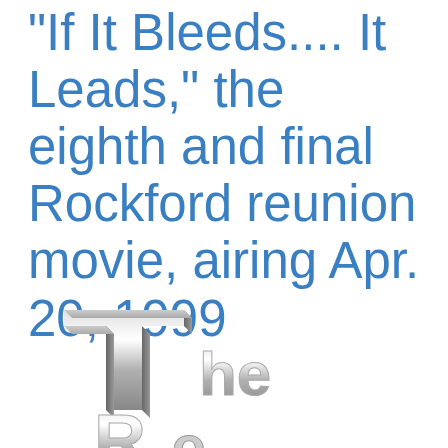“If It Bleeds… It Leads,” the eighth and final Rockford reunion movie, airing Apr. 20, 1999
8. IF IT BLEEDS... IT LEADS
    Original Air Date: April 20, 1999
[Figure (logo): 3D rendered logo showing 'The Rockford Files' in bold three-dimensional metallic/grey lettering, partially cropped at bottom of page]